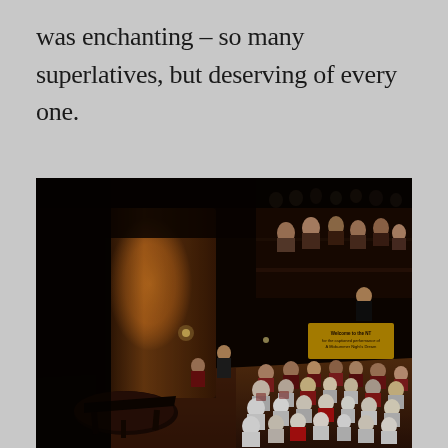was enchanting – so many superlatives, but deserving of every one.
[Figure (photo): Interior of a theater showing the stage with a grand piano, dramatic lighting illuminating a large column/wall, audience members seated and milling about in the stalls, balcony levels with spectators visible in the upper right, warm amber/brown tones, a yellow text display screen visible on the right side reading 'Welcome to the NT for the captioned performance of A Midsummer Night's Dream'.]